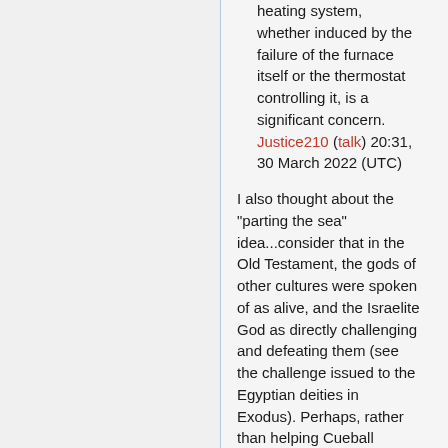heating system, whether induced by the failure of the furnace itself or the thermostat controlling it, is a significant concern. Justice210 (talk) 20:31, 30 March 2022 (UTC)
I also thought about the "parting the sea" idea...consider that in the Old Testament, the gods of other cultures were spoken of as alive, and the Israelite God as directly challenging and defeating them (see the challenge issued to the Egyptian deities in Exodus). Perhaps, rather than helping Cueball